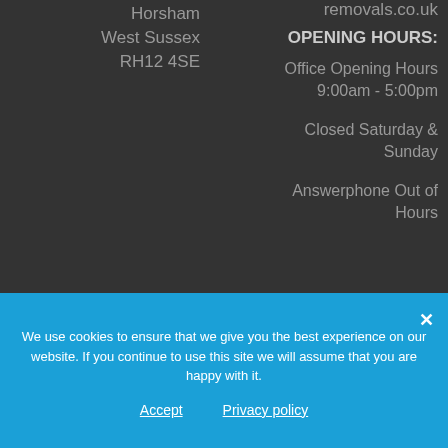Horsham
West Sussex
RH12 4SE
removals.co.uk
OPENING HOURS:
Office Opening Hours
9:00am - 5:00pm
Closed Saturday &
Sunday
Answerphone Out of
Hours
We use cookies to ensure that we give you the best experience on our website. If you continue to use this site we will assume that you are happy with it.
Accept
Privacy policy